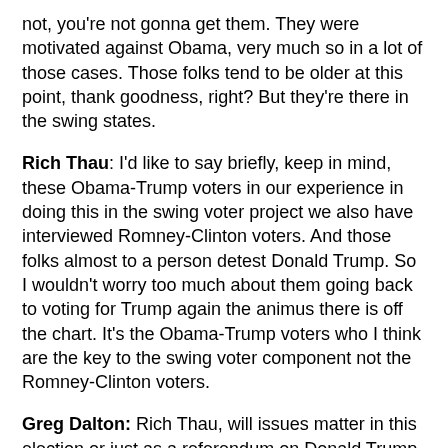not, you're not gonna get them.  They were motivated against Obama, very much so in a lot of those cases.  Those folks tend to be older at this point, thank goodness, right?  But they're there in the swing states.
Rich Thau:  I'd like to say briefly, keep in mind, these Obama-Trump voters in our experience in doing this in the swing voter project we also have interviewed Romney-Clinton voters.  And those folks almost to a person detest Donald Trump.  So I wouldn't worry too much about them going back to voting for Trump again the animus there is off the chart.  It's the Obama-Trump voters who I think are the key to the swing voter component not the Romney-Clinton voters.
Greg Dalton:  Rich Thau, will issues matter in this election or just as a referendum on Donald Trump and will issues matter and which ones?